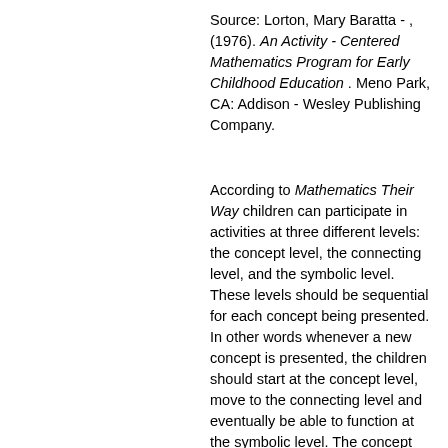Source: Lorton, Mary Baratta - , (1976). An Activity - Centered Mathematics Program for Early Childhood Education . Meno Park, CA: Addison - Wesley Publishing Company.
According to Mathematics Their Way children can participate in activities at three different levels: the concept level, the connecting level, and the symbolic level. These levels should be sequential for each concept being presented. In other words whenever a new concept is presented, the children should start at the concept level, move to the connecting level and eventually be able to function at the symbolic level. The concept level is the most basic level. Children should have hands on activities. They should be manipulating objects to develop an understanding of the concept. They should not be asked to associate the objects with the symbols yet. Examples of this level in a fractions unit would be cutting up pizzas, exploring with Cuisenaire rods how many in different combinations, and comparing pattern blocks. The connecting level is where the symbols are introduced in conjunction with the manipulatives. Children still manipulate the objects but then record their activities using the symbols. As the children progress, they may use pictures to represent the objects and then record using the symbols. Examples of this level include dividing up